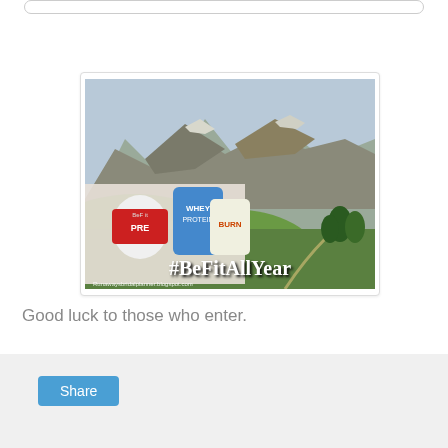[Figure (photo): Promotional image showing mountain landscape with fitness supplement products (PRE, WHEY PROTEIN, BURN) in the lower left, and text '#BeFitAllYear' at the bottom. URL 'Runawaysbridalplanner.blogspot.com' shown in lower left corner.]
Good luck to those who enter.
[Figure (screenshot): Gray share widget section with a blue Share button in the lower left corner.]